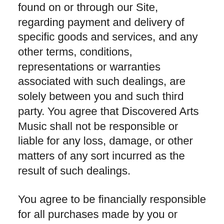found on or through our Site, regarding payment and delivery of specific goods and services, and any other terms, conditions, representations or warranties associated with such dealings, are solely between you and such third party. You agree that Discovered Arts Music shall not be responsible or liable for any loss, damage, or other matters of any sort incurred as the result of such dealings.
You agree to be financially responsible for all purchases made by you or someone acting on your behalf through the Site. You agree to use the Site and to purchase services or products through the Site for legitimate, non-commercial purposes only. You also agree not to make any purchases for speculative, false or fraudulent purposes or for the purpose of anticipating demand for a particular product or service. You agree to only purchase goods or services for yourself or for another person for whom